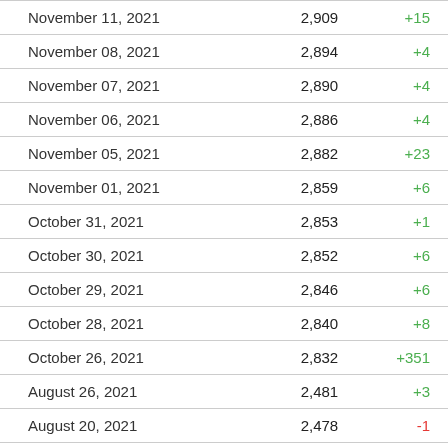| Date | Count | Change |
| --- | --- | --- |
| November 11, 2021 | 2,909 | +15 |
| November 08, 2021 | 2,894 | +4 |
| November 07, 2021 | 2,890 | +4 |
| November 06, 2021 | 2,886 | +4 |
| November 05, 2021 | 2,882 | +23 |
| November 01, 2021 | 2,859 | +6 |
| October 31, 2021 | 2,853 | +1 |
| October 30, 2021 | 2,852 | +6 |
| October 29, 2021 | 2,846 | +6 |
| October 28, 2021 | 2,840 | +8 |
| October 26, 2021 | 2,832 | +351 |
| August 26, 2021 | 2,481 | +3 |
| August 20, 2021 | 2,478 | -1 |
| August 19, 2021 | 2,479 | +4 |